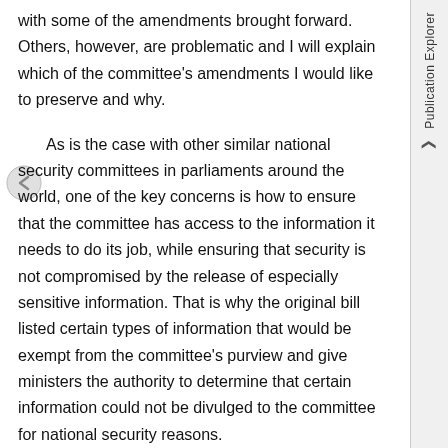with some of the amendments brought forward. Others, however, are problematic and I will explain which of the committee's amendments I would like to preserve and why.
As is the case with other similar national security committees in parliaments around the world, one of the key concerns is how to ensure that the committee has access to the information it needs to do its job, while ensuring that security is not compromised by the release of especially sensitive information. That is why the original bill listed certain types of information that would be exempt from the committee's purview and give ministers the authority to determine that certain information could not be divulged to the committee for national security reasons.
Publication Explorer